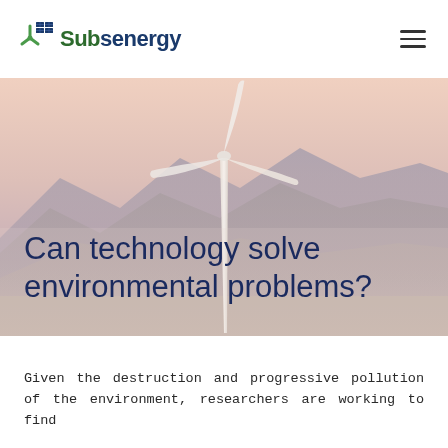Subsenergy
[Figure (photo): Wind turbine against a hazy mountain range background with warm pastel sky tones. Large wind turbine blade visible in foreground center.]
Can technology solve environmental problems?
Given the destruction and progressive pollution of the environment, researchers are working to find